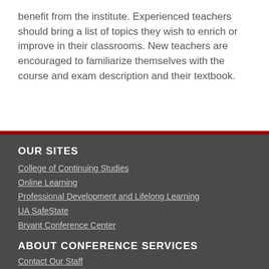benefit from the institute.  Experienced teachers should bring a list of topics they wish to enrich or improve in their classrooms.  New teachers are encouraged to familiarize themselves with the course and exam description and their textbook.
OUR SITES
College of Continuing Studies
Online Learning
Professional Development and Lifelong Learning
UA SafeState
Bryant Conference Center
ABOUT CONFERENCE SERVICES
Contact Our Staff